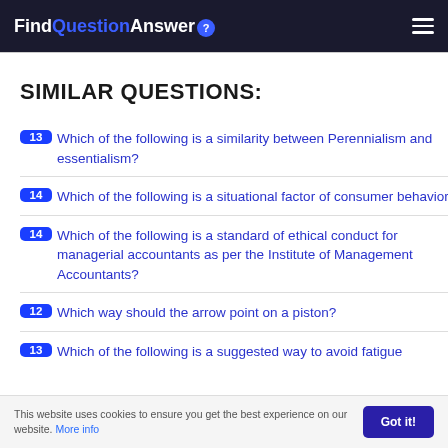FindQuestionAnswer
SIMILAR QUESTIONS:
13 Which of the following is a similarity between Perennialism and essentialism?
14 Which of the following is a situational factor of consumer behavior?
14 Which of the following is a standard of ethical conduct for managerial accountants as per the Institute of Management Accountants?
12 Which way should the arrow point on a piston?
13 Which of the following is a suggested way to avoid fatigue
This website uses cookies to ensure you get the best experience on our website. More info